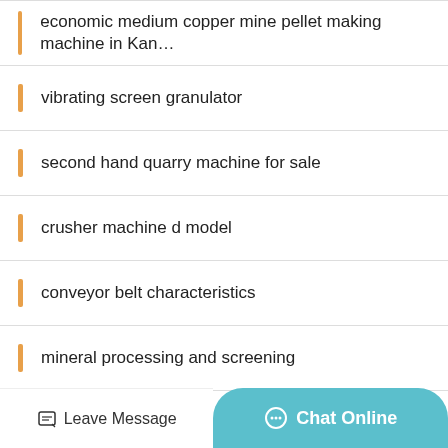economic medium copper mine pellet making machine in Kan…
vibrating screen granulator
second hand quarry machine for sale
crusher machine d model
conveyor belt characteristics
mineral processing and screening
ground caco3 plant manufacturer stone crusher machine
Belgium low price large pyrrhotite fine crusher
(partially visible text)
Leave Message
Chat Online